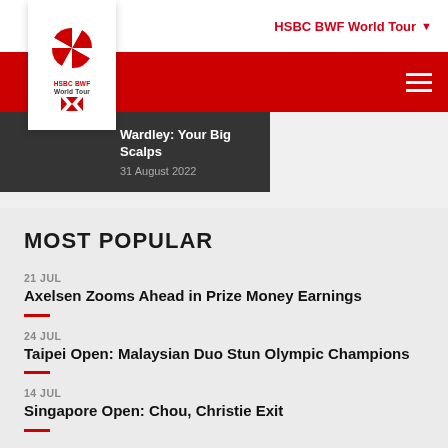HSBC BWF World Tour
[Figure (logo): HSBC BWF World Tour logo - red and white circular/fan design with HSBC BWF World Tour text]
Wardley: Your Big Scalps
31 August 2022
MOST POPULAR
21 JUL
Axelsen Zooms Ahead in Prize Money Earnings
24 JUL
Taipei Open: Malaysian Duo Stun Olympic Champions
14 JUL
Singapore Open: Chou, Christie Exit